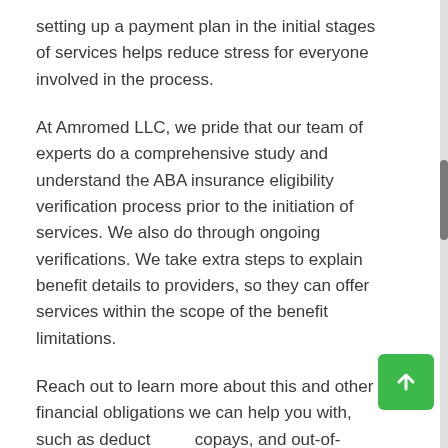setting up a payment plan in the initial stages of services helps reduce stress for everyone involved in the process.
At Amromed LLC, we pride that our team of experts do a comprehensive study and understand the ABA insurance eligibility verification process prior to the initiation of services. We also do through ongoing verifications. We take extra steps to explain benefit details to providers, so they can offer services within the scope of the benefit limitations.
Reach out to learn more about this and other financial obligations we can help you with, such as deductibles, copays, and out-of-pocket maximums.